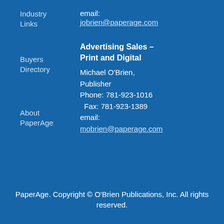Industry Links
email: jobrien@paperage.com
Buyers Directory
Advertising Sales – Print and Digital
About PaperAge
Michael O'Brien, Publisher
Phone: 781-923-1016
Fax: 781-923-1389
email: mobrien@paperage.com
PaperAge. Copyright © O'Brien Publications, Inc. All rights reserved.